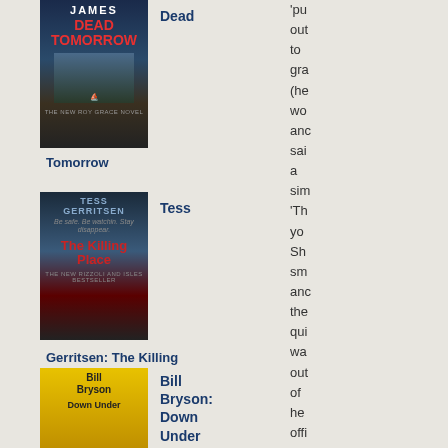[Figure (photo): Book cover: Dead Tomorrow by Peter James]
Dead
'pu out to gra (he wo anc sai a sim 'Th yo Sh sm anc the qui wa out of he offi anc
Tomorrow
[Figure (photo): Book cover: Tess Gerritsen - The Killing Place]
Tess
Gerritsen: The Killing Place
[Figure (photo): Book cover: Bill Bryson - Down Under]
Bill Bryson: Down Under